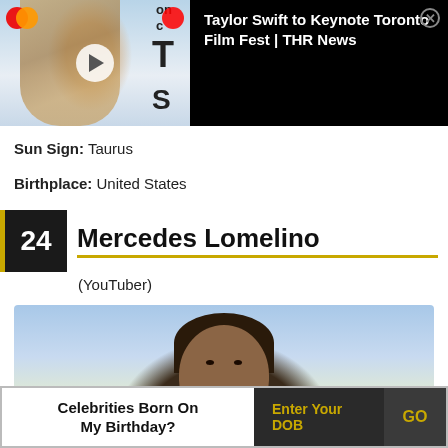[Figure (screenshot): Video thumbnail of Taylor Swift with play button overlay, next to black panel showing THR News video title]
Taylor Swift to Keynote Toronto Film Fest | THR News
Sun Sign: Taurus
Birthplace: United States
24 Mercedes Lomelino
(YouTuber)
[Figure (photo): Close-up photo of Mercedes Lomelino with dark hair against blue sky background]
Celebrities Born On My Birthday? Enter Your DOB GO